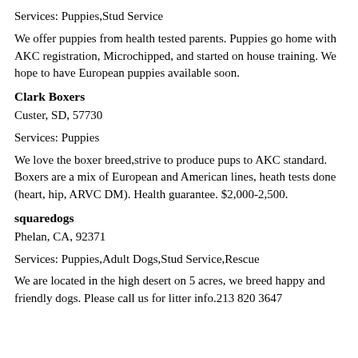Services: Puppies,Stud Service
We offer puppies from health tested parents. Puppies go home with AKC registration, Microchipped, and started on house training. We hope to have European puppies available soon.
Clark Boxers
Custer, SD, 57730
Services: Puppies
We love the boxer breed,strive to produce pups to AKC standard. Boxers are a mix of European and American lines, heath tests done (heart, hip, ARVC DM). Health guarantee. $2,000-2,500.
squaredogs
Phelan, CA, 92371
Services: Puppies,Adult Dogs,Stud Service,Rescue
We are located in the high desert on 5 acres, we breed happy and friendly dogs. Please call us for litter info.213 820 3647